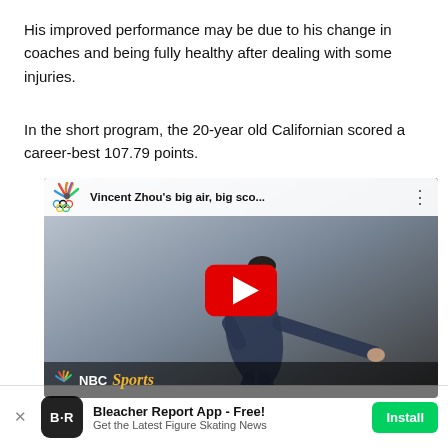His improved performance may be due to his change in coaches and being fully healthy after dealing with some injuries.
In the short program, the 20-year old Californian scored a career-best 107.79 points.
[Figure (screenshot): YouTube video embed showing NBC Sports video titled 'Vincent Zhou's big air, big sco...' with a figure skater in a dark costume performing, NBC peacock logo visible, YouTube play button overlay, NBC Sports branding at bottom.]
Bleacher Report App - Free! Get the Latest Figure Skating News  Install